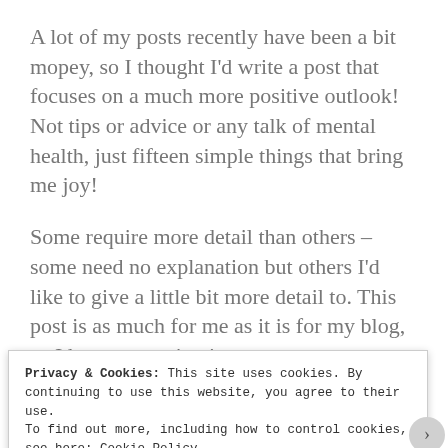A lot of my posts recently have been a bit mopey, so I thought I'd write a post that focuses on a much more positive outlook! Not tips or advice or any talk of mental health, just fifteen simple things that bring me joy!
Some require more detail than others – some need no explanation but others I'd like to give a little bit more detail to. This post is as much for me as it is for my blog, so I hope you enjoy it.
1. Long drives with my mum
Privacy & Cookies: This site uses cookies. By continuing to use this website, you agree to their use.
To find out more, including how to control cookies, see here: Cookie Policy